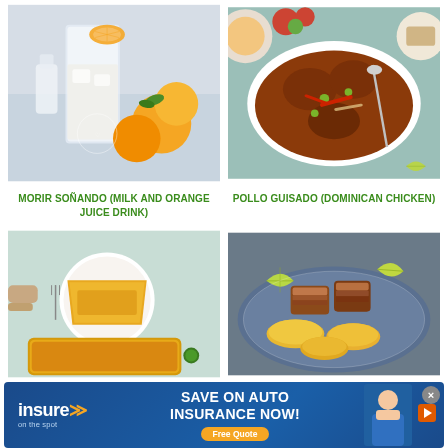[Figure (photo): Glass of Morir Soñando drink with orange slices on a light blue background]
[Figure (photo): Pollo Guisado Dominican chicken stew in a white oval baking dish on a teal table with side dishes]
MORIR SOÑANDO (MILK AND ORANGE JUICE DRINK)
POLLO GUISADO (DOMINICAN CHICKEN)
[Figure (photo): Slice of yellow cornmeal or egg-based casserole on a white plate with casserole dish below]
[Figure (photo): Tostones and pork belly pieces on a blue ceramic plate with lime wedges]
[Figure (photo): Advertisement banner for insure on the spot - Save on Auto Insurance Now! Free Quote]